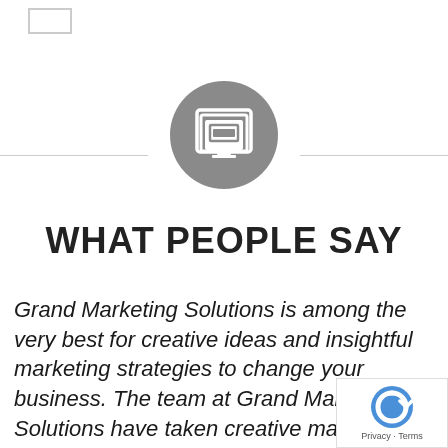[Figure (logo): Small rectangular logo placeholder in top-left corner]
[Figure (illustration): Gray circle icon with stacked pages/documents symbol in the center, flanked by horizontal divider lines]
WHAT PEOPLE SAY
Grand Marketing Solutions is among the very best for creative ideas and insightful marketing strategies to change your business. The team at Grand Marketing Solutions have taken creative marketing a solutions driven strategy to a new level.